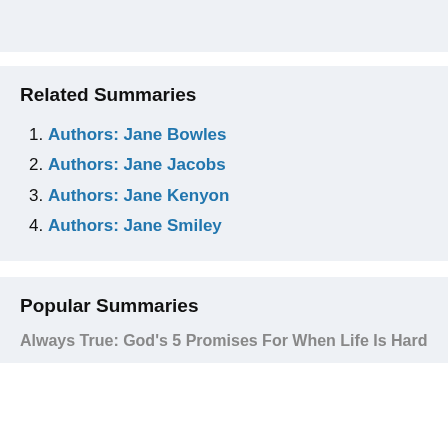Related Summaries
Authors: Jane Bowles
Authors: Jane Jacobs
Authors: Jane Kenyon
Authors: Jane Smiley
Popular Summaries
Always True: God's 5 Promises For When Life Is Hard